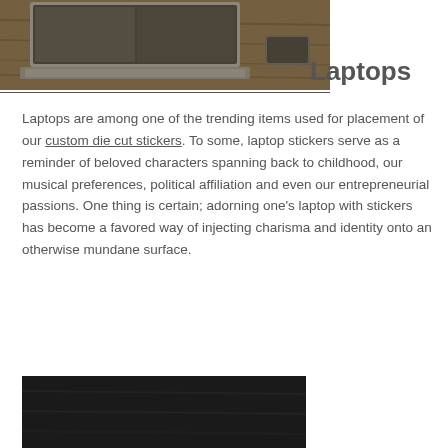[Figure (photo): Photo of a laptop on a wooden desk, viewed from front-left angle, with a smartphone visible to the right]
Laptops
Laptops are among one of the trending items used for placement of our custom die cut stickers. To some, laptop stickers serve as a reminder of beloved characters spanning back to childhood, our musical preferences, political affiliation and even our entrepreneurial passions. One thing is certain; adorning one’s laptop with stickers has become a favored way of injecting charisma and identity onto an otherwise mundane surface.
[Figure (photo): Dark surface, partial view of another image at the bottom of the page]